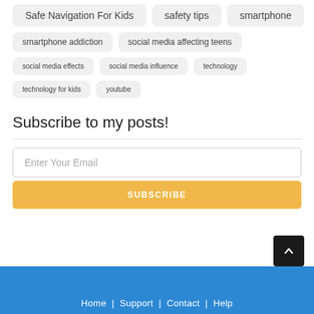Safe Navigation For Kids
safety tips
smartphone
smartphone addiction
social media affecting teens
social media effects
social media influence
technology
technology for kids
youtube
Subscribe to my posts!
Enter Your Email
SUBSCRIBE
Home | Support | Contact | Help